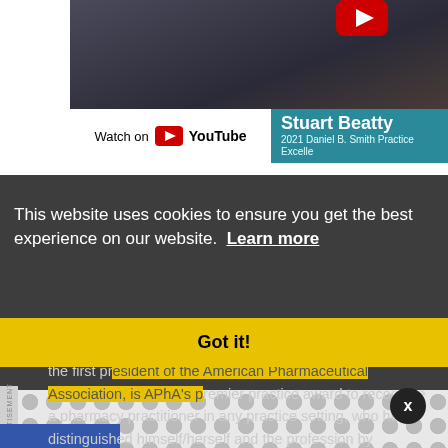[Figure (screenshot): YouTube video thumbnail showing Stuart Beatty, 2021 Daniel B. Smith Practice Excellence Award. Shows a man in a dark suit, with 'Watch on YouTube' bar and teal name plate reading 'Stuart Beatty / 2021 Daniel B. Smith Practice Excelle[nce Award]']
This website uses cookies to ensure you get the best experience on our website. Learn more
Got it!
The Daniel B. Smith Practice Excellence Award, in honor of the first president of the American Pharmaceutical Association, is APhA's premier practice award to recognize a pharmacy practitioner in any practice setting, who has distinguished himself/herself and the profession by outstanding performance